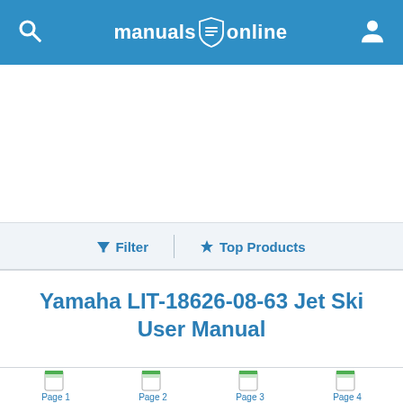manuals online
[Figure (screenshot): Filter and Top Products navigation buttons with a vertical divider]
Yamaha LIT-18626-08-63 Jet Ski User Manual
[Figure (screenshot): Page thumbnails row: Page 1, Page 2, Page 3, Page 4]